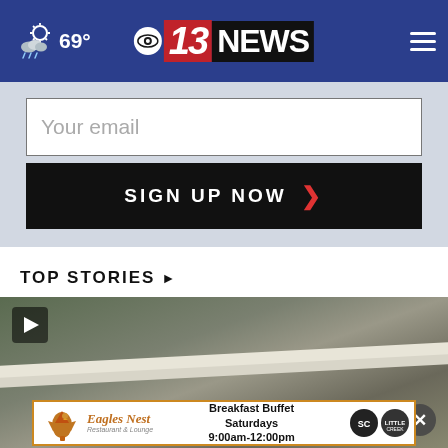69° — CBS 13 NEWS navigation header
Your email
SIGN UP NOW
TOP STORIES ▶
[Figure (photo): Video thumbnail showing a rooftop/gutter scene with play button overlay and close (X) button]
[Figure (other): Eagle's Nest Restaurant & Lounge advertisement — Breakfast Buffet Saturdays 9:00am-12:00pm, with eagle logo and golf course logos]